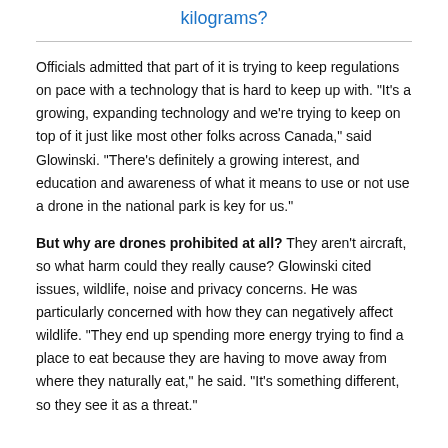kilograms?
Officials admitted that part of it is trying to keep regulations on pace with a technology that is hard to keep up with. "It's a growing, expanding technology and we're trying to keep on top of it just like most other folks across Canada," said Glowinski. "There's definitely a growing interest, and education and awareness of what it means to use or not use a drone in the national park is key for us."
But why are drones prohibited at all? They aren't aircraft, so what harm could they really cause? Glowinski cited issues, wildlife, noise and privacy concerns. He was particularly concerned with how they can negatively affect wildlife. "They end up spending more energy trying to find a place to eat because they are having to move away from where they naturally eat," he said. "It's something different, so they see it as a threat."